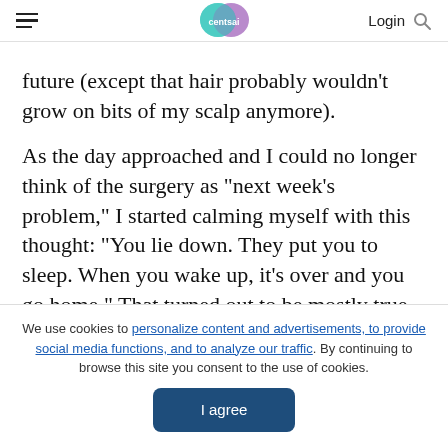centsai | Login
future (except that hair probably wouldn’t grow on bits of my scalp anymore).
As the day approached and I could no longer think of the surgery as “next week’s problem,” I started calming myself with this thought: “You lie down. They put you to sleep. When you wake up, it’s over and you go home.” That turned out to be mostly true. Except that it wasn’t “over” in quite the sense I was hoping for. There…
We use cookies to personalize content and advertisements, to provide social media functions, and to analyze our traffic. By continuing to browse this site you consent to the use of cookies. I agree